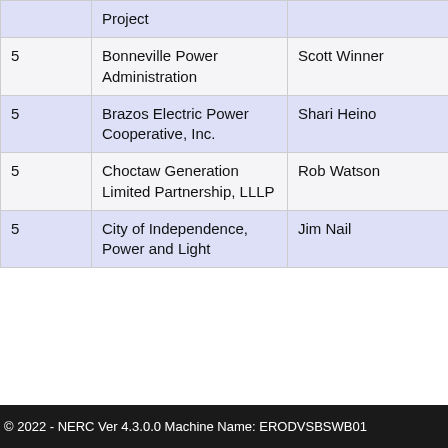|  |  | Project |  |  |
| --- | --- | --- | --- | --- |
| 5 | Bonneville Power Administration | Scott Winner |  |
| 5 | Brazos Electric Power Cooperative, Inc. | Shari Heino |  |
| 5 | Choctaw Generation Limited Partnership, LLLP | Rob Watson |  |
| 5 | City of Independence, Power and Light | Jim Nail |  |
© 2022 - NERC Ver 4.3.0.0 Machine Name: ERODVSBSWB01